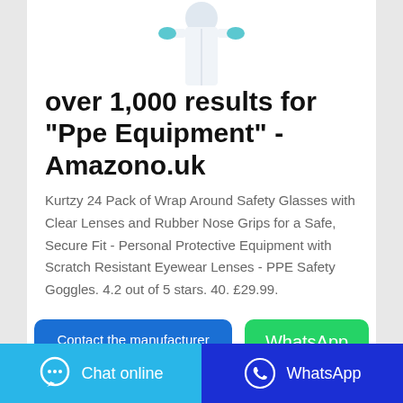[Figure (photo): Partial image of a person wearing white PPE protective coverall suit with blue gloves, cropped at the top of the page]
over 1,000 results for "Ppe Equipment" - Amazono.uk
Kurtzy 24 Pack of Wrap Around Safety Glasses with Clear Lenses and Rubber Nose Grips for a Safe, Secure Fit - Personal Protective Equipment with Scratch Resistant Eyewear Lenses - PPE Safety Goggles. 4.2 out of 5 stars. 40. £29.99.
Contact the manufacturer
WhatsApp
Chat online
WhatsApp